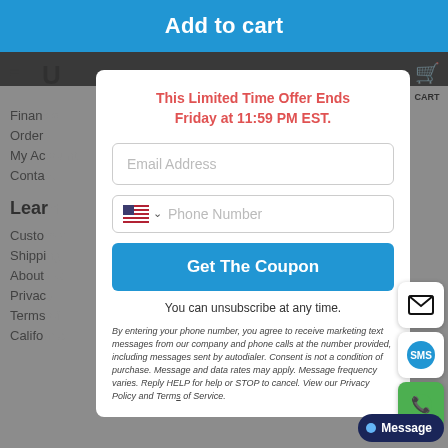Add to cart
This Limited Time Offer Ends Friday at 11:59 PM EST.
Email Address
Phone Number
Get The Coupon
You can unsubscribe at any time.
By entering your phone number, you agree to receive marketing text messages from our company and phone calls at the number provided, including messages sent by autodialer. Consent is not a condition of purchase. Message and data rates may apply. Message frequency varies. Reply HELP for help or STOP to cancel. View our Privacy Policy and Terms of Service.